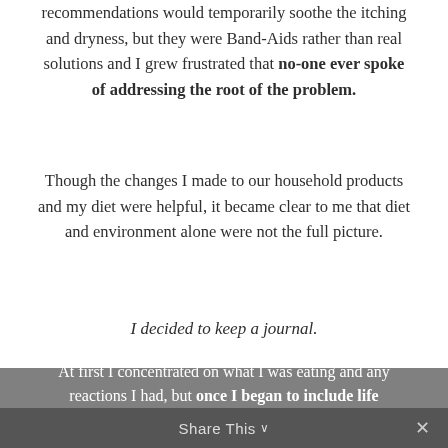recommendations would temporarily soothe the itching and dryness, but they were Band-Aids rather than real solutions and I grew frustrated that no-one ever spoke of addressing the root of the problem.
Though the changes I made to our household products and my diet were helpful, it became clear to me that diet and environment alone were not the full picture.
I decided to keep a journal.
At first I concentrated on what I was eating and any reactions I had, but once I began to include life